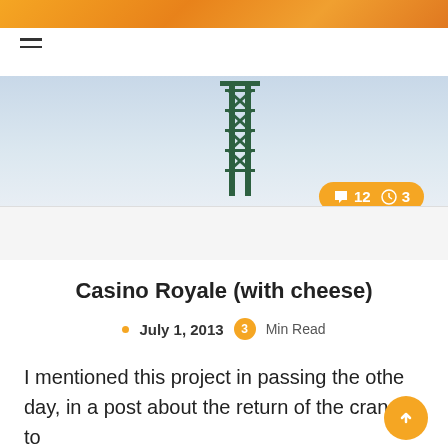[Figure (photo): Orange/warm colored banner at the top of the page]
Navigation bar with hamburger menu icon
[Figure (photo): Hero image area with light blue/grey background and a green steel tower/lattice structure in the center. An orange badge shows comment count 12 and reading time 3.]
Casino Royale (with cheese)
July 1, 2013  3 Min Read
I mentioned this project in passing the other day, in a post about the return of the cranes to